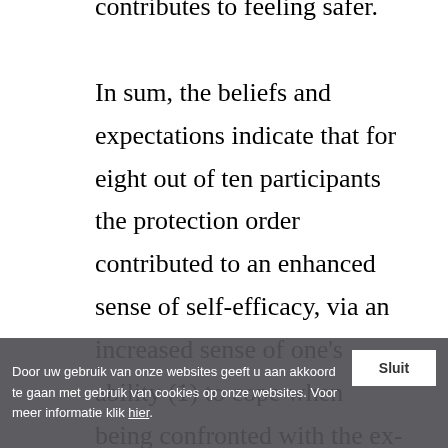contributes to feeling safer. In sum, the beliefs and expectations indicate that for eight out of ten participants the protection order contributed to an enhanced sense of self-efficacy, via an increased sense of one's ability (1) to cope when being confronted with the ex-
Door uw gebruik van onze websites geeft u aan akkoord te gaan met gebruik van cookies op onze websites. Voor meer informatie klik hier.